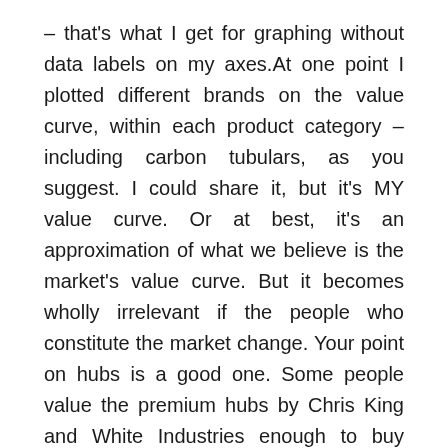– that's what I get for graphing without data labels on my axes.At one point I plotted different brands on the value curve, within each product category – including carbon tubulars, as you suggest. I could share it, but it's MY value curve. Or at best, it's an approximation of what we believe is the market's value curve. But it becomes wholly irrelevant if the people who constitute the market change. Your point on hubs is a good one. Some people value the premium hubs by Chris King and White Industries enough to buy them; other people do not. And I believe some of that value has as much to do with the vanity of the hubs as the performance (though in the case of WI and CK it's moot, as you could certainly argue that the full value of the increased cost is justified in the performance – you get the brand for free).Brand or "vanity" is where we get hung up a bit. In this industry, much of what